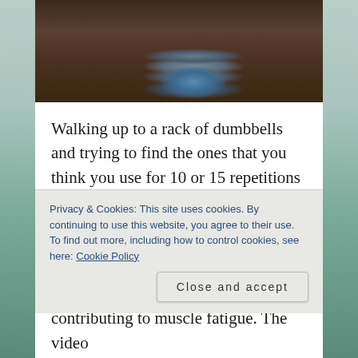[Figure (photo): Close-up photo of stacked dumbbell weight plates on a gym floor, dark metallic colors]
Walking up to a rack of dumbbells and trying to find the ones that you think you use for 10 or 15 repetitions can be one of the most intimidating moments at the gym. It's easy to feel good and strong for the first couple of repetitions, but not so easy for those 10th or 15th reps. Why is that? The answer can be
Privacy & Cookies: This site uses cookies. By continuing to use this website, you agree to their use.
To find out more, including how to control cookies, see here: Cookie Policy
contributing to muscle fatigue. The video